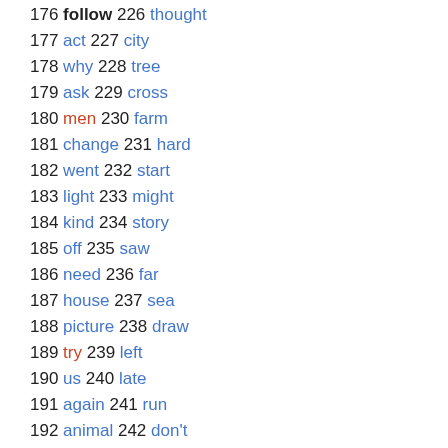176 follow 226 thought
177 act 227 city
178 why 228 tree
179 ask 229 cross
180 men 230 farm
181 change 231 hard
182 went 232 start
183 light 233 might
184 kind 234 story
185 off 235 saw
186 need 236 far
187 house 237 sea
188 picture 238 draw
189 try 239 left
190 us 240 late
191 again 241 run
192 animal 242 don't